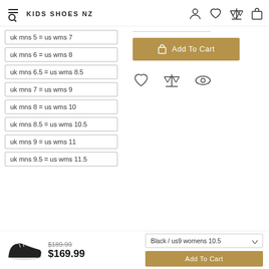KIDS SHOES NZ
uk mns 5 = us wms 7
uk mns 6 = us wms 8
uk mns 6.5 = us wms 8.5
uk mns 7 = us wms 9
uk mns 8 = us wms 10
uk mns 8.5 = us wms 10.5
uk mns 9 = us wms 11
uk mns 9.5 = us wms 11.5
Add To Cart
$189.99  $169.99  Black / us9 womens 10.5  Add To Cart